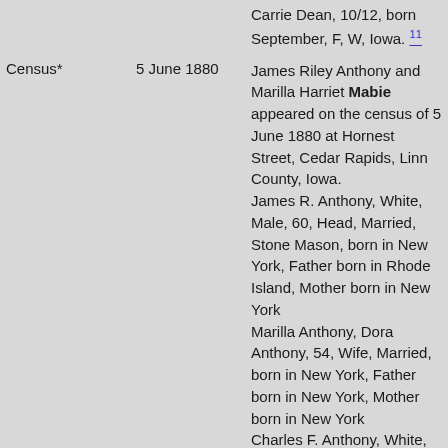| Type | Date | Description |
| --- | --- | --- |
|  |  | Carrie Dean, 10/12, born September, F, W, Iowa.¹¹ |
| Census* | 5 June 1880 | James Riley Anthony and Marilla Harriet Mabie appeared on the census of 5 June 1880 at Hornest Street, Cedar Rapids, Linn County, Iowa.
James R. Anthony, White, Male, 60, Head, Married, Stone Mason, born in New York, Father born in Rhode Island, Mother born in New York
Marilla Anthony, Dora Anthony, 54, Wife, Married, born in New York, Father born in New York, Mother born in New York
Charles F. Anthony, White, Male, 22, Son |